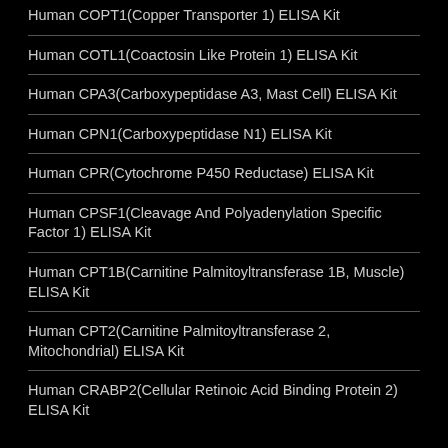Human COPT1(Copper Transporter 1) ELISA Kit
Human COTL1(Coactosin Like Protein 1) ELISA Kit
Human CPA3(Carboxypeptidase A3, Mast Cell) ELISA Kit
Human CPN1(Carboxypeptidase N1) ELISA Kit
Human CPR(Cytochrome P450 Reductase) ELISA Kit
Human CPSF1(Cleavage And Polyadenylation Specific Factor 1) ELISA Kit
Human CPT1B(Carnitine Palmitoyltransferase 1B, Muscle) ELISA Kit
Human CPT2(Carnitine Palmitoyltransferase 2, Mitochondrial) ELISA Kit
Human CRABP2(Cellular Retinoic Acid Binding Protein 2) ELISA Kit